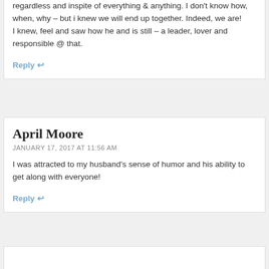regardless and inspite of everything & anything. I don't know how, when, why – but i knew we will end up together. Indeed, we are!
I knew, feel and saw how he and is still – a leader, lover and responsible @ that.
Reply ↩
April Moore
JANUARY 17, 2017 AT 11:56 AM
I was attracted to my husband's sense of humor and his ability to get along with everyone!
Reply ↩